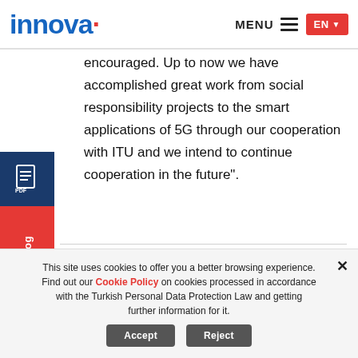innova — MENU EN
encouraged. Up to now we have accomplished great work from social responsibility projects to the smart applications of 5G through our cooperation with ITU and we intend to continue cooperation in the future".
Download Catalog (sidebar)
← →
This site uses cookies to offer you a better browsing experience. Find out our Cookie Policy on cookies processed in accordance with the Turkish Personal Data Protection Law and getting further information for it. Accept Reject